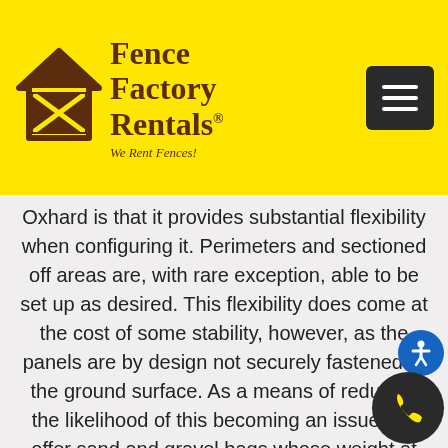[Figure (logo): Fence Factory Rentals logo with house/fence icon and tagline 'We Rent Fences!' on yellow header background]
Oxhard is that it provides substantial flexibility when configuring it. Perimeters and sectioned off areas are, with rare exception, able to be set up as desired. This flexibility does come at the cost of some stability, however, as the panels are by design not securely fastened to the ground surface. As a means of reducing the likelihood of this becoming an issue, we offer sand and gravel bags whose weight at the panel base creates additional structural support.
Whereas some customers need short-term rentals, others have lengthier projects and/or jobs in which maintaining site security is of the utmost importance. In these situations, post driven chain-link fencing will likely be a better option. The central difference between post driven